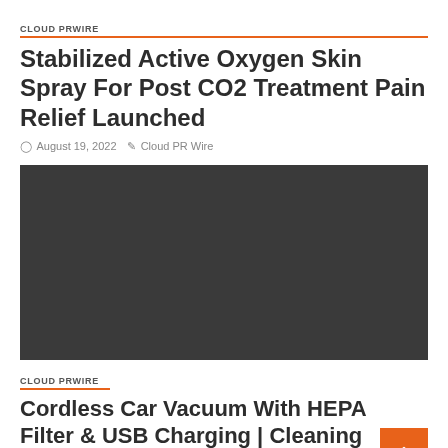CLOUD PRWIRE
Stabilized Active Oxygen Skin Spray For Post CO2 Treatment Pain Relief Launched
August 19, 2022   Cloud PR Wire
[Figure (photo): Dark placeholder image block]
CLOUD PRWIRE
Cordless Car Vacuum With HEPA Filter & USB Charging | Cleaning Device Launched